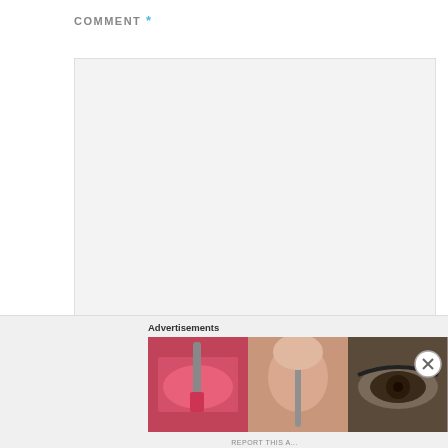COMMENT *
[Figure (screenshot): Empty comment textarea input box with light gray background and resize handle in bottom-right corner]
NAME *
[Figure (screenshot): Empty name text input box with light gray background]
Advertisements
[Figure (photo): Ulta Beauty advertisement banner showing makeup images: lips with lipstick brush, face powder brush, eye with makeup, Ulta Beauty logo, smoky eye closeup, and SHOP NOW call to action]